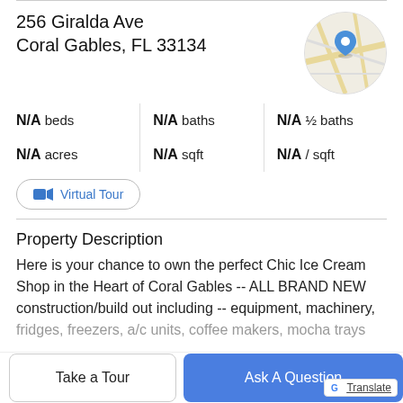256 Giralda Ave
Coral Gables, FL 33134
[Figure (map): Circular Google Maps thumbnail showing street map of Coral Gables area with a blue location pin marker]
N/A beds | N/A baths | N/A ½ baths | N/A acres | N/A sqft | N/A / sqft
Virtual Tour
Property Description
Here is your chance to own the perfect Chic Ice Cream Shop in the Heart of Coral Gables -- ALL BRAND NEW construction/build out including -- equipment, machinery,
fridges, freezers, a/c units, coffee makers, mocha trays
Take a Tour
Ask A Question
[Figure (logo): Google Translate badge with G logo and Translate underlined link]